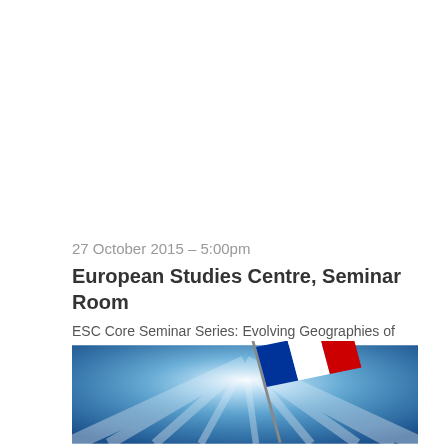27 October 2015 – 5:00pm
European Studies Centre, Seminar Room
ESC Core Seminar Series: Evolving Geographies of Power in Europe Geography of welfare and poverty
[Figure (photo): Photo of a EU or European flag waving against a blue sky with radiating light beams in the background.]